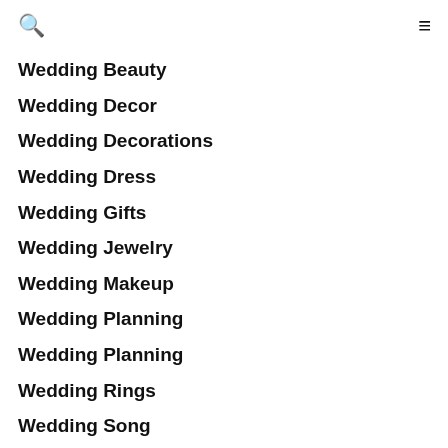🔍 ≡
Wedding Beauty
Wedding Decor
Wedding Decorations
Wedding Dress
Wedding Gifts
Wedding Jewelry
Wedding Makeup
Wedding Planning
Wedding Planning
Wedding Rings
Wedding Song
Wedding Speech
Wedding Tips & Advice